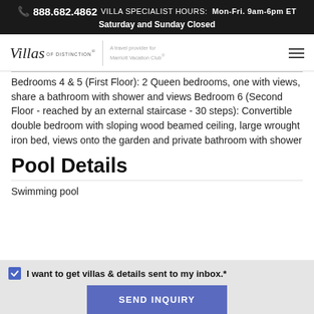☎ 888.682.4862  VILLA SPECIALIST HOURS: Mon-Fri. 9am-6pm ET  Saturday and Sunday Closed
[Figure (logo): Villas of Distinction logo with tagline: A travel provider for Marriott Vacation Club]
Bedrooms 4 & 5 (First Floor): 2 Queen bedrooms, one with views, share a bathroom with shower and views Bedroom 6 (Second Floor - reached by an external staircase - 30 steps): Convertible double bedroom with sloping wood beamed ceiling, large wrought iron bed, views onto the garden and private bathroom with shower
Pool Details
Swimming pool
I want to get villas & details sent to my inbox.*